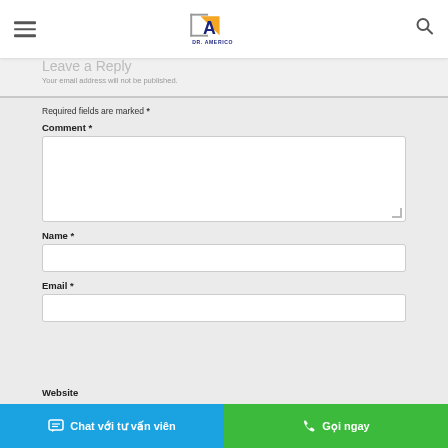DR. AMERICO — navigation header with hamburger menu and search icon
Leave a Reply
Your email address will not be published.
Required fields are marked *
Comment *
Name *
Email *
Website
Chat với tư vấn viên   Gọi ngay